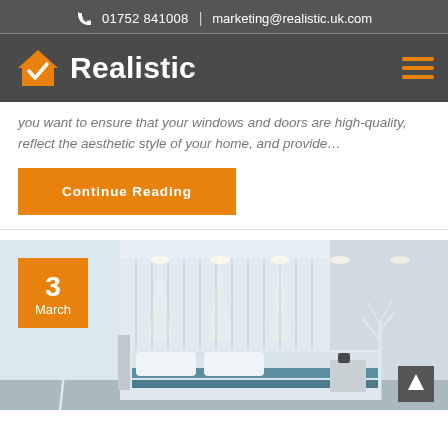01752 841008  |  marketing@realistic.uk.com
[Figure (logo): Realistic company logo with orange house icon and checkmark, white text 'Realistic' on dark grey background, hamburger menu icon on right]
you want to ensure that your windows and doors are high-quality, reflect the aesthetic style of your home, and provide…
Continue Reading
[Figure (photo): Modern bedroom interior with vertical blinds/panels, recessed ceiling lights, a bed with blue/teal accents, and a bare white decorative tree. Date badge shows 3 March in orange. Scroll-to-top arrow button in lower right.]